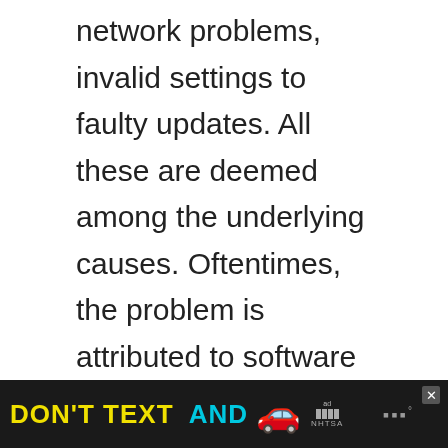network problems, invalid settings to faulty updates. All these are deemed among the underlying causes. Oftentimes, the problem is attributed to software errors. In worst case scenarios, a faulty hardware is to blame like bad SIM card or damaged SIM tray, antenna, and other relevant components on the device. Tackled in this context is a pertinent issue transpiring on the new Samsung Galaxy A8 2018 smartphone.
[Figure (other): Advertisement banner: 'DON'T TEXT AND [car emoji]' with ad badge and NHTSA logo on dark background, with close button (X) in top right corner]